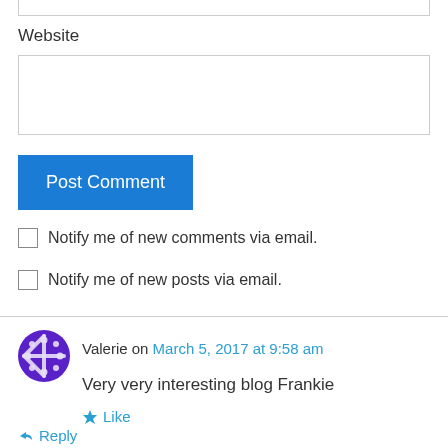Website
Post Comment
Notify me of new comments via email.
Notify me of new posts via email.
Valerie on March 5, 2017 at 9:58 am
Very very interesting blog Frankie
Like
Reply